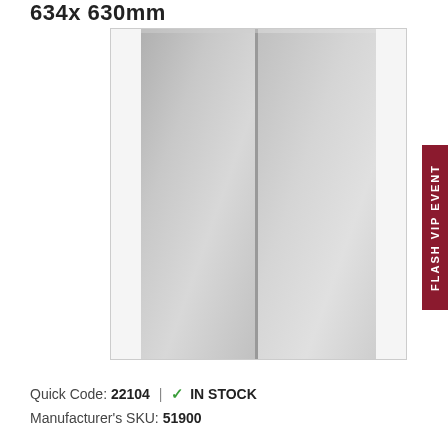634x 630mm
[Figure (photo): Product photo of a double-door mirror cabinet with white side panels and two mirrored doors, tall rectangular shape]
FLASH VIP EVENT
Quick Code: 22104 | ✔ IN STOCK
Manufacturer's SKU: 51900